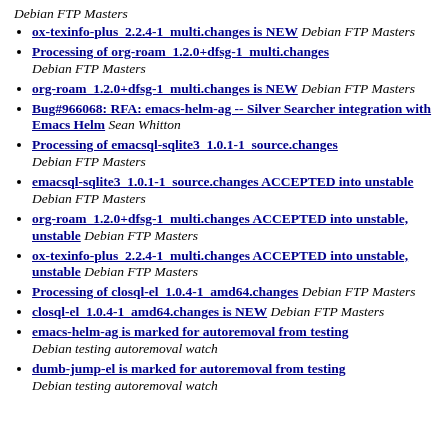Debian FTP Masters
ox-texinfo-plus_2.2.4-1_multi.changes is NEW Debian FTP Masters
Processing of org-roam_1.2.0+dfsg-1_multi.changes Debian FTP Masters
org-roam_1.2.0+dfsg-1_multi.changes is NEW Debian FTP Masters
Bug#966068: RFA: emacs-helm-ag -- Silver Searcher integration with Emacs Helm Sean Whitton
Processing of emacsql-sqlite3_1.0.1-1_source.changes Debian FTP Masters
emacsql-sqlite3_1.0.1-1_source.changes ACCEPTED into unstable Debian FTP Masters
org-roam_1.2.0+dfsg-1_multi.changes ACCEPTED into unstable, unstable Debian FTP Masters
ox-texinfo-plus_2.2.4-1_multi.changes ACCEPTED into unstable, unstable Debian FTP Masters
Processing of closql-el_1.0.4-1_amd64.changes Debian FTP Masters
closql-el_1.0.4-1_amd64.changes is NEW Debian FTP Masters
emacs-helm-ag is marked for autoremoval from testing Debian testing autoremoval watch
dumb-jump-el is marked for autoremoval from testing Debian testing autoremoval watch